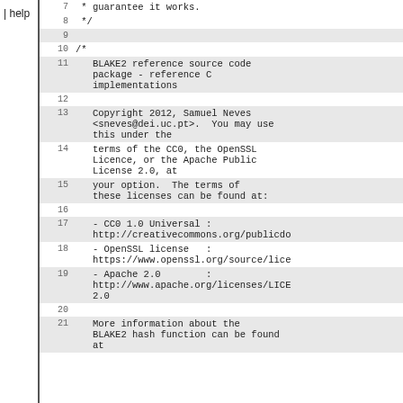help
Code viewer showing lines 7-21 of a source file containing BLAKE2 reference source code package license header
7:  * guarantee it works.
8:  */
9:
10: /*
11:     BLAKE2 reference source code package - reference C implementations
12:
13:     Copyright 2012, Samuel Neves <sneves@dei.uc.pt>.  You may use this under the
14:     terms of the CC0, the OpenSSL Licence, or the Apache Public License 2.0, at
15:     your option.  The terms of these licenses can be found at:
16:
17:     - CC0 1.0 Universal : http://creativecommons.org/publicdo
18:     - OpenSSL license   : https://www.openssl.org/source/lice
19:     - Apache 2.0        : http://www.apache.org/licenses/LICE 2.0
20:
21:     More information about the BLAKE2 hash function can be found at